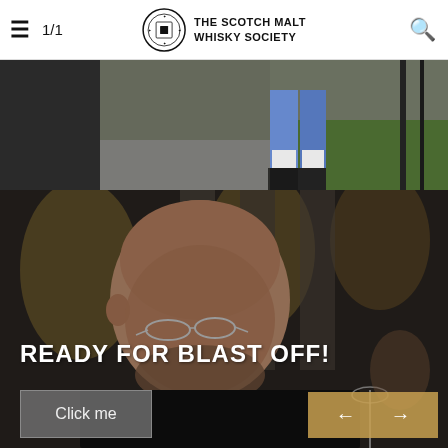≡  1/1  THE SCOTCH MALT WHISKY SOCIETY  🔍
[Figure (photo): Outdoor scene showing legs of a person in jeans and black boots standing on pavement near grass]
[Figure (photo): Close-up of a bald man with rimless glasses in a dim restaurant setting, holding a wine glass, with text overlay 'READY FOR BLAST OFF!' and navigation buttons]
READY FOR BLAST OFF!
Click me